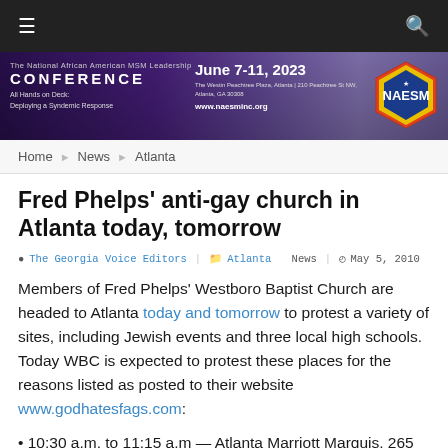[Figure (screenshot): Website top navigation bar with dark background, hamburger menu icon on left, search icon on right]
[Figure (infographic): Banner ad for The National African American MSM Leadership CONFERENCE, June 7-11, 2023, The Westin Peachtree Plaza, Atlanta, 210 Peachtree St NW, Atlanta GA 30308, www.naesminc.org, All Hands on Deck: Deploying a Syndemic Response. NAESM logo on right.]
Home > News > Atlanta
Fred Phelps' anti-gay church in Atlanta today, tomorrow
The Georgia Voice Editors   Atlanta   News   May 5, 2010
Members of Fred Phelps' Westboro Baptist Church are headed to Atlanta today and tomorrow to protest a variety of sites, including Jewish events and three local high schools. Today WBC is expected to protest these places for the reasons listed as posted to their website www.godhatesfags.com:
• 10:30 a.m. to 11:15 a.m — Atlanta Marriott Marquis, 265 Peachtree Center Ave. WBC is picket the [CC] by of North America